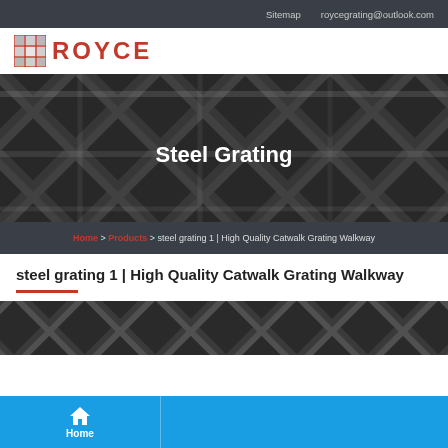Sitemap   roycegrating@outlook.com
[Figure (logo): Royce logo with red grid icon and red text ROYCE]
[Figure (photo): Dark steel grating close-up photo with 'Steel Grating' text overlay]
Home > Products > steel grating 1 | High Quality Catwalk Grating Walkway
steel grating 1 | High Quality Catwalk Grating Walkway
[Figure (photo): Partial steel grating product photo at bottom of page]
Home